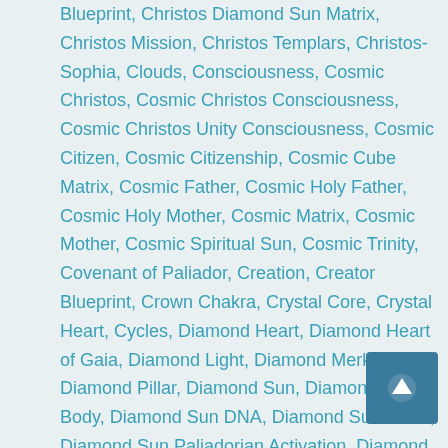Blueprint, Christos Diamond Sun Matrix, Christos Mission, Christos Templars, Christos-Sophia, Clouds, Consciousness, Cosmic Christos, Cosmic Christos Consciousness, Cosmic Christos Unity Consciousness, Cosmic Citizen, Cosmic Citizenship, Cosmic Cube Matrix, Cosmic Father, Cosmic Holy Father, Cosmic Holy Mother, Cosmic Matrix, Cosmic Mother, Cosmic Spiritual Sun, Cosmic Trinity, Covenant of Paliador, Creation, Creator Blueprint, Crown Chakra, Crystal Core, Crystal Heart, Cycles, Diamond Heart, Diamond Heart of Gaia, Diamond Light, Diamond Merkaba, Diamond Pillar, Diamond Sun, Diamond Sun Body, Diamond Sun DNA, Diamond Sun Heart, Diamond Sun Paliadorian Activation, Diamond Sun Races, Diamond Sun Templates, Divine Alchemy, Divine Female Principle, Divine Feminine Principle, Divine Male Principle, Divine Masculine / Divine Feminine, Divine Masculine Principle, Divine Mother, Divine Sacred Union, Divine Trinity, Divine Union, DNA, DNA Upgrades, Double Diamond Body, Double Diamond Body Amplifier, Double Diamond Sun DNA, Ego Death, Ego Personality,
[Figure (other): Back to top button - teal/dark blue square button with upward arrow icon]